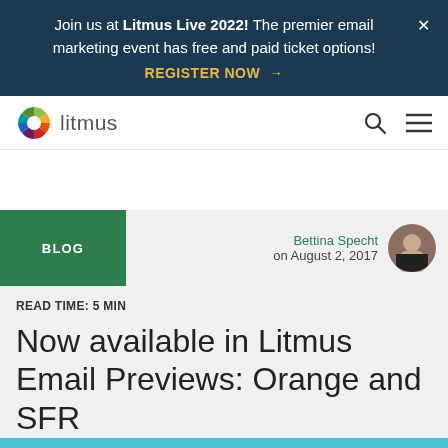Join us at Litmus Live 2022! The premier email marketing event has free and paid ticket options! REGISTER NOW →
[Figure (logo): Litmus logo with colorful wheel icon and 'litmus' wordmark]
BLOG
Bettina Specht on August 2, 2017
READ TIME: 5 MIN
Now available in Litmus Email Previews: Orange and SFR